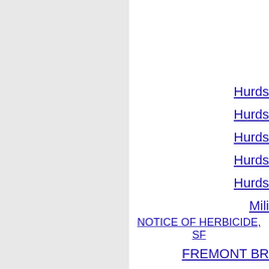Hurds
Hurds
Hurds
Hurds
Hurds
Mili
NOTICE OF HERBICIDE, SP
FREMONT BR